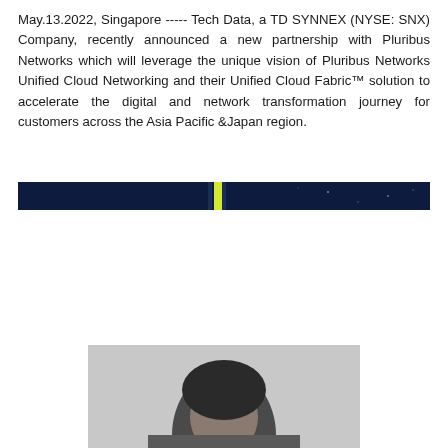May.13.2022, Singapore ----- Tech Data, a TD SYNNEX (NYSE: SNX) Company, recently announced a new partnership with Pluribus Networks which will leverage the unique vision of Pluribus Networks Unified Cloud Networking and their Unified Cloud Fabric™ solution to accelerate the digital and network transformation journey for customers across the Asia Pacific & Japan region.
[Figure (photo): Dark banner/header image with a dark navy background featuring a small yellow/green vertical accent near the center-left and faint star-like dots on the right side.]
[Figure (photo): Black and white portrait photo of a person, partially visible, showing the upper portion of the head and shoulders.]